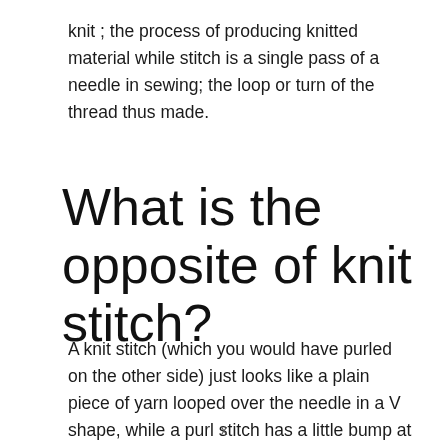knit ; the process of producing knitted material while stitch is a single pass of a needle in sewing; the loop or turn of the thread thus made.
What is the opposite of knit stitch?
A knit stitch (which you would have purled on the other side) just looks like a plain piece of yarn looped over the needle in a V shape, while a purl stitch has a little bump at the
x